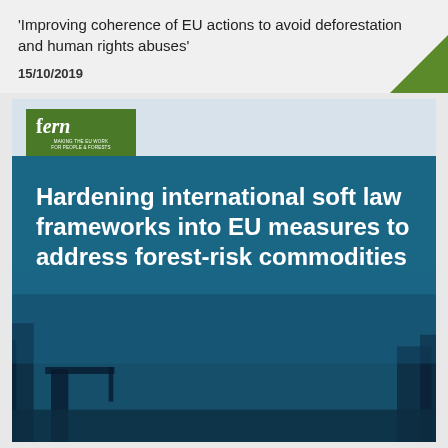'Improving coherence of EU actions to avoid deforestation and human rights abuses'
15/10/2019
[Figure (illustration): Cover image of a Fern report titled 'Hardening international soft law frameworks into EU measures to address forest-risk commodities'. Features the Fern logo (green background, white italic text reading 'fern' with subtitle 'MAKING THE EU WORK FOR PEOPLE & FORESTS') and a blue-tinted photo of a forest/industrial scene. The report title text is white bold on a dark blue background.]